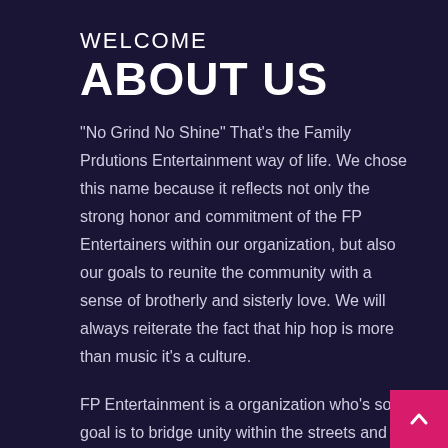WELCOME
ABOUT US
"No Grind No Shine" That's the Family Prdutions Entertainment way of life. We chose this name because it reflects not only the strong honor and commitment of the FP Entertainers within our organization, but also our goals to reunite the community with a sense of brotherly and sisterly love. We will always reiterate the fact that hip hop is more than music it's a culture.
FP Entertainment is a organization who's soul goal is to bridge unity within the streets and the music game. FP uses the revenues from